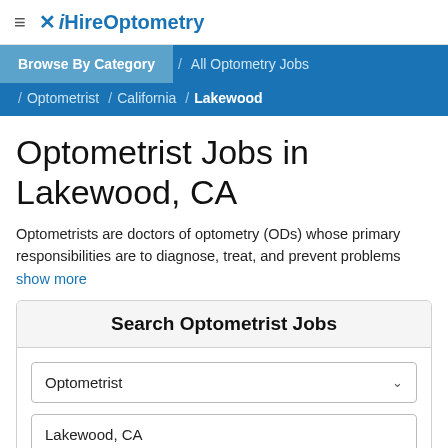≡ iHireOptometry
Browse By Category / All Optometry Jobs / Optometrist / California / Lakewood
Optometrist Jobs in Lakewood, CA
Optometrists are doctors of optometry (ODs) whose primary responsibilities are to diagnose, treat, and prevent problems
show more
Search Optometrist Jobs
Optometrist
Lakewood, CA